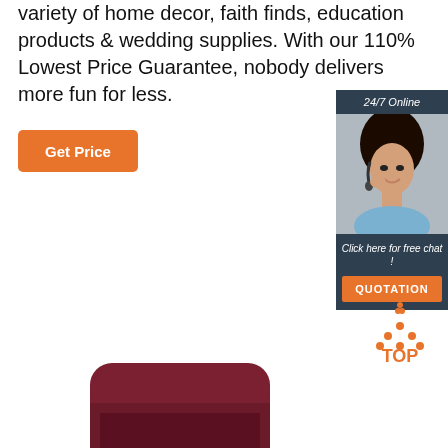variety of home decor, faith finds, education products & wedding supplies. With our 110% Lowest Price Guarantee, nobody delivers more fun for less.
[Figure (other): Orange 'Get Price' button]
[Figure (other): 24/7 online chat widget with customer service representative photo, 'Click here for free chat!' text, and orange QUOTATION button]
[Figure (logo): Orange dotted triangle TOP badge]
[Figure (photo): Dark red/maroon rounded rectangular product box partially visible at bottom of page]